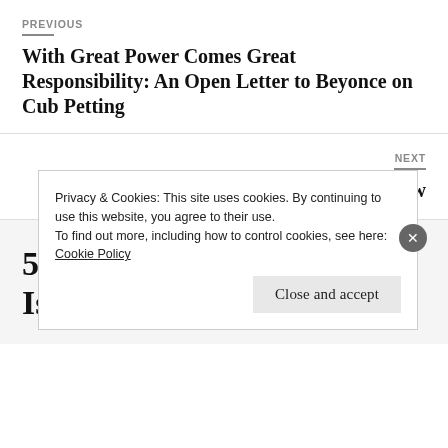PREVIOUS
With Great Power Comes Great Responsibility: An Open Letter to Beyonce on Cub Petting
NEXT
It's All In How You Put On The Show
51 thoughts on “A Rescuer Is Supposed to Rescue”
Privacy & Cookies: This site uses cookies. By continuing to use this website, you agree to their use.
To find out more, including how to control cookies, see here: Cookie Policy
Close and accept